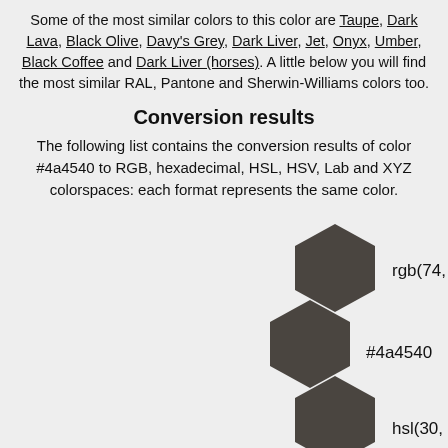Some of the most similar colors to this color are Taupe, Dark Lava, Black Olive, Davy's Grey, Dark Liver, Jet, Onyx, Umber, Black Coffee and Dark Liver (horses). A little below you will find the most similar RAL, Pantone and Sherwin-Williams colors too.
Conversion results
The following list contains the conversion results of color #4a4540 to RGB, hexadecimal, HSL, HSV, Lab and XYZ colorspaces: each format represents the same color.
[Figure (infographic): Three stacked dark hexagons (color #4a4540) with color format labels: rgb(74, 69, 64), #4a4540, hsl(30, 7.2%, 27.1%) shown next to each hexagon respectively.]